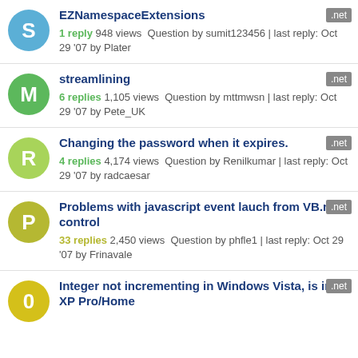EZNamespaceExtensions — 1 reply 948 views  Question by sumit123456 | last reply: Oct 29 '07 by Plater
streamlining — 6 replies 1,105 views  Question by mttmwsn | last reply: Oct 29 '07 by Pete_UK
Changing the password when it expires. — 4 replies 4,174 views  Question by Renilkumar | last reply: Oct 29 '07 by radcaesar
Problems with javascript event lauch from VB.net control — 33 replies 2,450 views  Question by phfle1 | last reply: Oct 29 '07 by Frinavale
Integer not incrementing in Windows Vista, is in XP Pro/Home